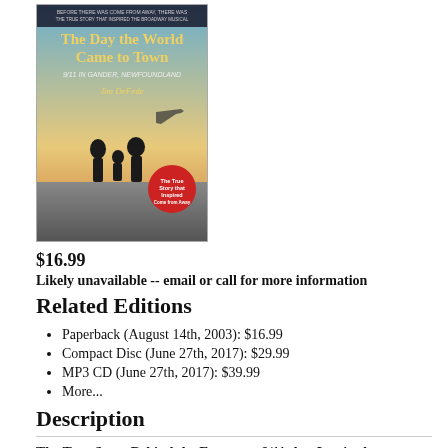[Figure (photo): Book cover of 'The Day the World Came to Town: 9/11 in Gander, Newfoundland' by Jim DeFede]
$16.99
Likely unavailable -- email or call for more information
Related Editions
Paperback (August 14th, 2003): $16.99
Compact Disc (June 27th, 2017): $29.99
MP3 CD (June 27th, 2017): $39.99
More...
Description
The True Story Behind the Events on 9/11 that Inspired Broadway's Smash Hit Musical Come from Away, Featuring All New Material from the Author
When 38 jetliners bound for the United States were forced to